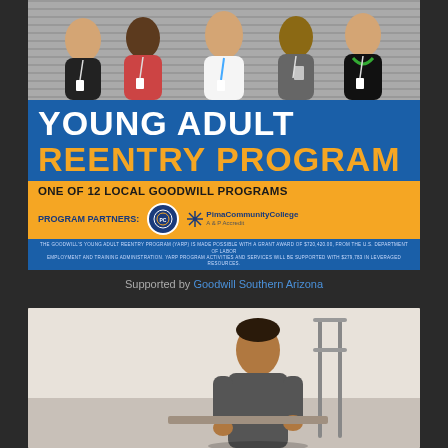[Figure (photo): Group photo of five people wearing lanyards/badges standing in front of a building, associated with the Young Adult Reentry Program promotional banner]
YOUNG ADULT REENTRY PROGRAM
ONE OF 12 LOCAL GOODWILL PROGRAMS
PROGRAM PARTNERS: [Pima County seal] [Pima Community College logo]
THE GOODWILL'S YOUNG ADULT REENTRY PROGRAM (YARP) IS MADE POSSIBLE WITH A GRANT AWARD OF $720,420.00, FROM THE U.S. DEPARTMENT OF LABOR EMPLOYMENT AND TRAINING ADMINISTRATION. YARP PROGRAM ACTIVITIES AND SERVICES WILL BE SUPPORTED WITH $279,783 IN LEVERAGED RESOURCES.
Supported by Goodwill Southern Arizona
[Figure (photo): Photo of a young man working at a workstation, appearing to focus on a task with equipment visible]